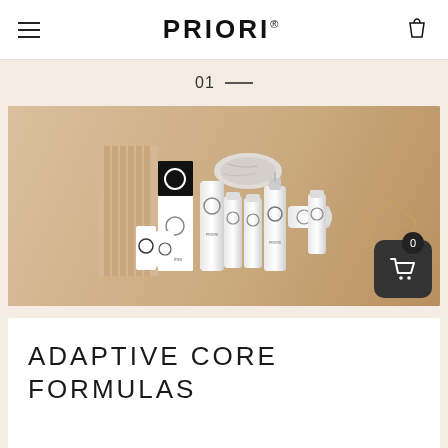PRIORI®
01 —
[Figure (photo): A flat-lay style product photo of PRIORI skincare products arranged on a beige/nude background. Multiple white bottles, tubes, and containers of varying sizes are displayed alongside a geometric copper wire diamond decoration and a ribbed beige panel. The products feature minimalist black circular logos.]
ADAPTIVE CORE FORMULAS